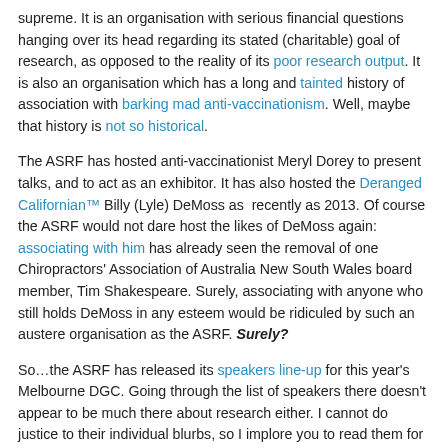supreme. It is an organisation with serious financial questions hanging over its head regarding its stated (charitable) goal of research, as opposed to the reality of its poor research output. It is also an organisation which has a long and tainted history of association with barking mad anti-vaccinationism. Well, maybe that history is not so historical.
The ASRF has hosted anti-vaccinationist Meryl Dorey to present talks, and to act as an exhibitor. It has also hosted the Deranged Californian™ Billy (Lyle) DeMoss as recently as 2013. Of course the ASRF would not dare host the likes of DeMoss again: associating with him has already seen the removal of one Chiropractors' Association of Australia New South Wales board member, Tim Shakespeare. Surely, associating with anyone who still holds DeMoss in any esteem would be ridiculed by such an austere organisation as the ASRF. Surely?
So…the ASRF has released its speakers line-up for this year's Melbourne DGC. Going through the list of speakers there doesn't appear to be much there about research either. I cannot do justice to their individual blurbs, so I implore you to read them for yourself. I'm guessing that if your desires may tend toward vitalism, back slapping, practice building, cash accumulation, personal growth, motivational speaking, life coaching, and wealth creation, as delivered by a global cadre of practitioners, then you are on to it. For herself if right to...